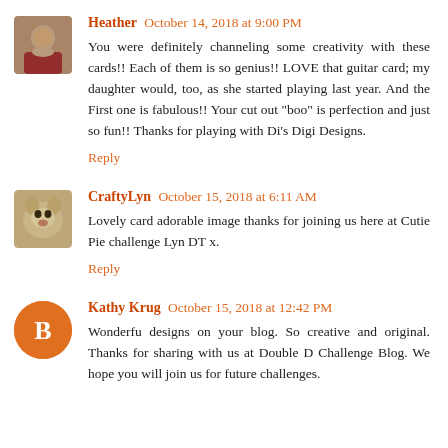[Figure (photo): Avatar photo of Heather, a woman with brown hair]
Heather October 14, 2018 at 9:00 PM
You were definitely channeling some creativity with these cards!! Each of them is so genius!! LOVE that guitar card; my daughter would, too, as she started playing last year. And the First one is fabulous!! Your cut out "boo" is perfection and just so fun!! Thanks for playing with Di's Digi Designs.
Reply
[Figure (photo): Avatar photo of CraftyLyn, a dog]
CraftyLyn October 15, 2018 at 6:11 AM
Lovely card adorable image thanks for joining us here at Cutie Pie challenge Lyn DT x.
Reply
[Figure (logo): Blogger 'B' logo icon in orange circle for Kathy Krug]
Kathy Krug October 15, 2018 at 12:42 PM
Wonderfu designs on your blog. So creative and original. Thanks for sharing with us at Double D Challenge Blog. We hope you will join us for future challenges.